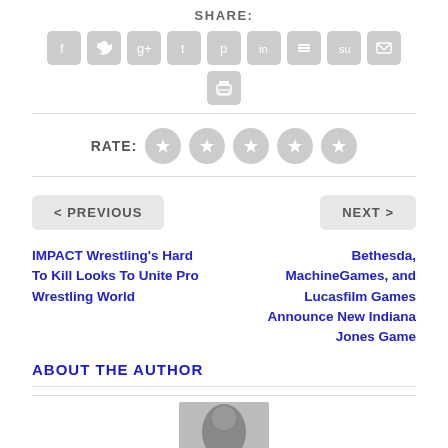SHARE:
[Figure (infographic): Row of social media share icon buttons: Facebook, Twitter, Google+, Tumblr, Pinterest, LinkedIn, Buffer, StumbleUpon, Email — all grey rounded squares with white icons]
[Figure (infographic): Single grey rounded square icon button with a printer/document icon]
RATE:
[Figure (infographic): Five grey circular star rating buttons]
< PREVIOUS
NEXT >
IMPACT Wrestling's Hard To Kill Looks To Unite Pro Wrestling World
Bethesda, MachineGames, and Lucasfilm Games Announce New Indiana Jones Game
ABOUT THE AUTHOR
[Figure (photo): Author photo — partial image of a person visible at the bottom of the page]